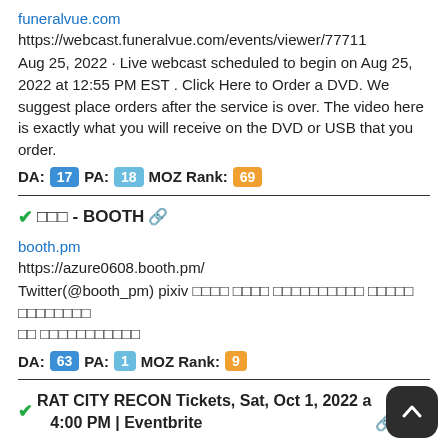funeralvue.com
https://webcast.funeralvue.com/events/viewer/77711
Aug 25, 2022 · Live webcast scheduled to begin on Aug 25, 2022 at 12:55 PM EST . Click Here to Order a DVD. We suggest place orders after the service is over. The video here is exactly what you will receive on the DVD or USB that you order.
DA: 17 PA: 18 MOZ Rank: 69
✓□□□ - BOOTH 🔗
booth.pm
https://azure0608.booth.pm/
Twitter(@booth_pm) pixiv □□□□ □□□□ □□□□□□□□□□ □□□□□ □□□□□□□□ □□ □□□□□□□□□□□
DA: 63 PA: 1 MOZ Rank: 9
✓RAT CITY RECON Tickets, Sat, Oct 1, 2022 a... 4:00 PM | Eventbrite 🔗